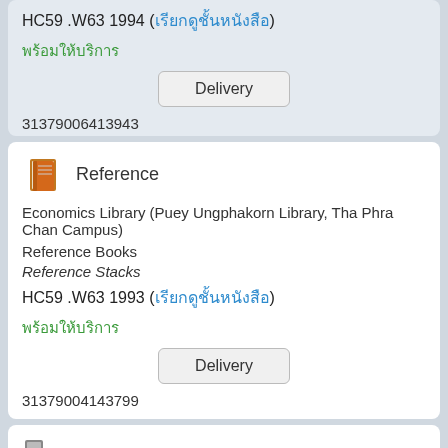HC59 .W63 1994 (เรียกดูชั้นหนังสือ)
พร้อมให้บริการ
Delivery
31379006413943
[Figure (illustration): Orange book icon for Reference section]
Reference
Economics Library (Puey Ungphakorn Library, Tha Phra Chan Campus)
Reference Books
Reference Stacks
HC59 .W63 1993 (เรียกดูชั้นหนังสือ)
พร้อมให้บริการ
Delivery
31379004143799